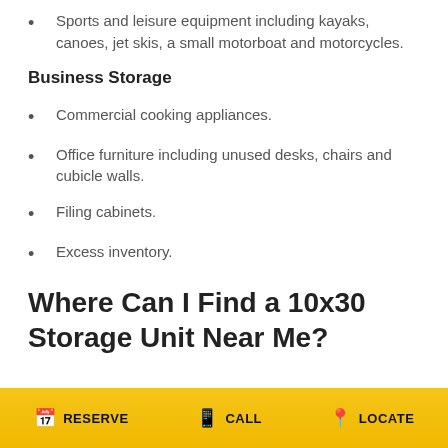Sports and leisure equipment including kayaks, canoes, jet skis, a small motorboat and motorcycles.
Business Storage
Commercial cooking appliances.
Office furniture including unused desks, chairs and cubicle walls.
Filing cabinets.
Excess inventory.
Where Can I Find a 10x30 Storage Unit Near Me?
RESERVE   CALL   LOCATE